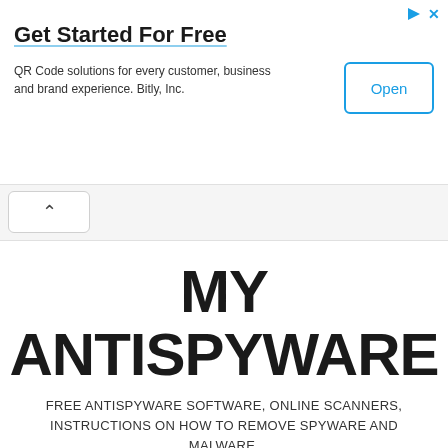Get Started For Free
QR Code solutions for every customer, business and brand experience. Bitly, Inc.
Open
MY ANTISPYWARE
FREE ANTISPYWARE SOFTWARE, ONLINE SCANNERS, INSTRUCTIONS ON HOW TO REMOVE SPYWARE AND MALWARE.